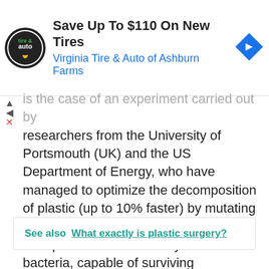[Figure (advertisement): Ad banner for Virginia Tire & Auto of Ashburn Farms with logo, text 'Save Up To $110 On New Tires', subtitle 'Virginia Tire & Auto of Ashburn Farms', and a blue diamond navigation icon]
is the case of an experiment carried out by researchers from the University of Portsmouth (UK) and the US Department of Energy, who have managed to optimize the decomposition of plastic (up to 10% faster) by mutating this enzyme. A further step would be to transplant this mutant enzyme into bacteria, capable of surviving temperatures of up to 70°C, when PET becomes viscous and dissolves faster.
See also  What exactly is plastic surgery?